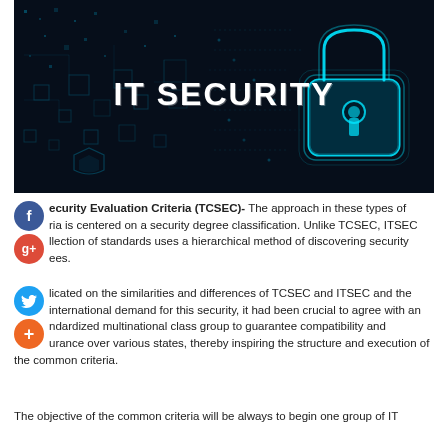[Figure (photo): IT Security banner image with glowing blue padlock and circuit board elements on dark background, text 'IT SECURITY' in white bold letters]
ecurity Evaluation Criteria (TCSEC)- The approach in these types of ria is centered on a security degree classification. Unlike TCSEC, ITSEC llection of standards uses a hierarchical method of discovering security ees.
licated on the similarities and differences of TCSEC and ITSEC and the international demand for this security, it had been crucial to agree with an ndardized multinational class group to guarantee compatibility and urance over various states, thereby inspiring the structure and execution of the common criteria.
The objective of the common criteria will be always to begin one group of IT